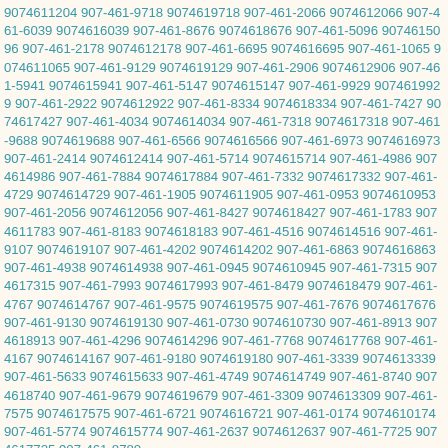9074611204 907-461-9718 9074619718 907-461-2066 9074612066 907-461-6039 9074616039 907-461-8676 9074618676 907-461-5096 9074615096 907-461-2178 9074612178 907-461-6695 9074616695 907-461-1065 9074611065 907-461-9129 9074619129 907-461-2906 9074612906 907-461-5941 9074615941 907-461-5147 9074615147 907-461-9929 9074619929 907-461-2922 9074612922 907-461-8334 9074618334 907-461-7427 9074617427 907-461-4034 9074614034 907-461-7318 9074617318 907-461-9688 9074619688 907-461-6566 9074616566 907-461-6973 9074616973 907-461-2414 9074612414 907-461-5714 9074615714 907-461-4986 9074614986 907-461-7884 9074617884 907-461-7332 9074617332 907-461-4729 9074614729 907-461-1905 9074611905 907-461-0953 9074610953 907-461-2056 9074612056 907-461-8427 9074618427 907-461-1783 9074611783 907-461-8183 9074618183 907-461-4516 9074614516 907-461-9107 9074619107 907-461-4202 9074614202 907-461-6863 9074616863 907-461-4938 9074614938 907-461-0945 9074610945 907-461-7315 9074617315 907-461-7993 9074617993 907-461-8479 9074618479 907-461-4767 9074614767 907-461-9575 9074619575 907-461-7676 9074617676 907-461-9130 9074619130 907-461-0730 9074610730 907-461-8913 9074618913 907-461-4296 9074614296 907-461-7768 9074617768 907-461-4167 9074614167 907-461-9180 9074619180 907-461-3339 9074613339 907-461-5633 9074615633 907-461-4749 9074614749 907-461-8740 9074618740 907-461-9679 9074619679 907-461-3309 9074613309 907-461-7575 9074617575 907-461-6721 9074616721 907-461-0174 9074610174 907-461-5774 9074615774 907-461-2637 9074612637 907-461-7725 9074617725 907-461-8780